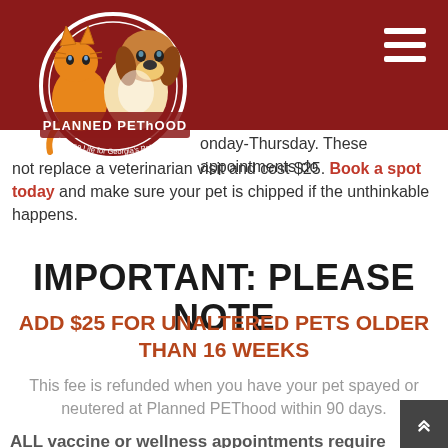Planned PEThood header with logo and navigation
onday-Thursday. These appointments do not replace a veterinarian visit and cost $25. Book a spot today and make sure your pet is chipped if the unthinkable happens.
IMPORTANT: PLEASE NOTE
ADD $25 FOR UNALTERED PETS OLDER THAN 16 WEEKS
This fee is refunded when you have your pet spayed or neutered at Planned PEThood within 90 days.
ALL vaccine or wellness appointments require a